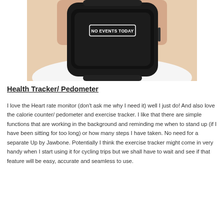[Figure (photo): A smartwatch on a wrist displaying 'NO EVENTS TODAY' on its black screen, shown from above against a white background.]
Health Tracker/ Pedometer
I love the Heart rate monitor (don't ask me why I need it) well I just do! And also love the calorie counter/ pedometer and exercise tracker. I like that there are simple functions that are working in the background and reminding me when to stand up (if I have been sitting for too long) or how many steps I have taken. No need for a separate Up by Jawbone. Potentially I think the exercise tracker might come in very handy when I start using it for cycling trips but we shall have to wait and see if that feature will be easy, accurate and seamless to use.